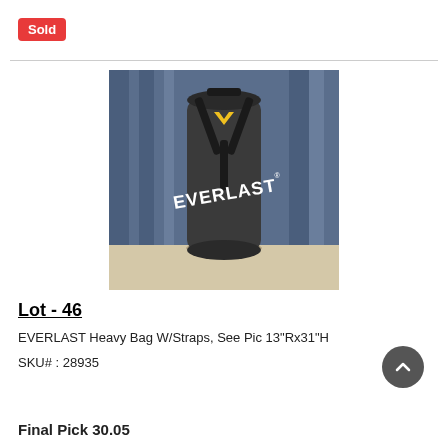Sold
[Figure (photo): Everlast heavy punching bag with straps, black cylindrical bag with white Everlast logo and yellow chevron, hanging against a blue curtain background]
Lot - 46
EVERLAST Heavy Bag W/Straps, See Pic 13"Rx31"H
SKU# : 28935
Final Pick 30.05